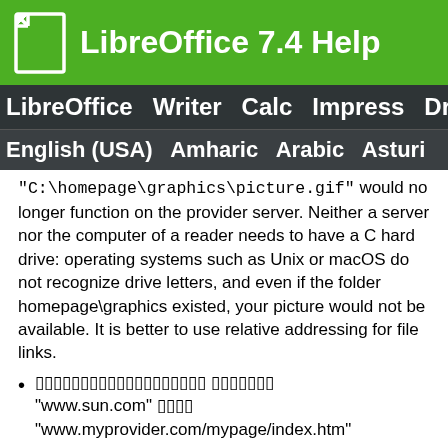LibreOffice 7.4 Help
LibreOffice Writer Calc Impress Dra
English (USA) Amharic Arabic Asturi
"C:\homepage\graphics\picture.gif" would no longer function on the provider server. Neither a server nor the computer of a reader needs to have a C hard drive: operating systems such as Unix or macOS do not recognize drive letters, and even if the folder homepage\graphics existed, your picture would not be available. It is better to use relative addressing for file links.
□□□□□□□□□□□□□□□□□□□ □□□□□□□ "www.sun.com" □□□□ "www.myprovider.com/mypage/index.htm"